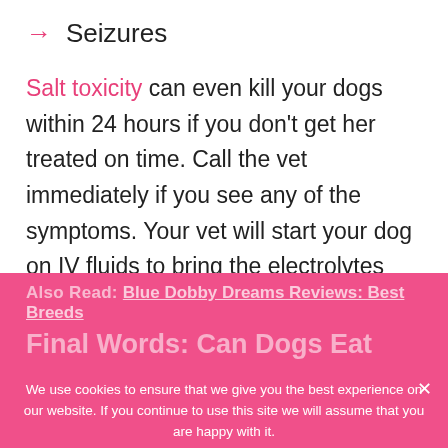→ Seizures
Salt toxicity can even kill your dogs within 24 hours if you don't get her treated on time. Call the vet immediately if you see any of the symptoms. Your vet will start your dog on IV fluids to bring the electrolytes back into balance. So, keep that salted popcorn away from your dog at all costs.
Also Read: Blue Dobby Dreams Reviews: Best Breeds
Final W... Can Dogs Eat
We use cookies to ensure that we give you the best experience on our website. If you continue to use this site we will assume that you are happy with it.